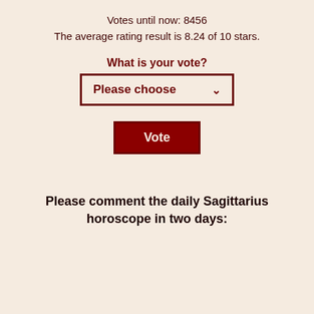Votes until now: 8456
The average rating result is 8.24 of 10 stars.
What is your vote?
[Figure (other): Dropdown selector widget with label 'Please choose' and a chevron arrow, bordered in dark red]
[Figure (other): Vote button with dark red border and dark red background, white text reading 'Vote']
Please comment the daily Sagittarius horoscope in two days: